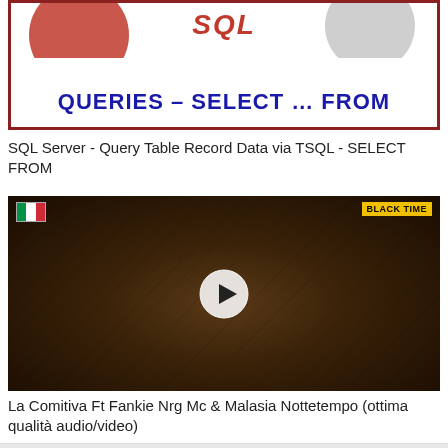[Figure (screenshot): Thumbnail image for SQL Server tutorial with red border, showing 'QUERIES – SELECT ... FROM' text in bold blue]
SQL Server - Query Table Record Data via TSQL - SELECT FROM
[Figure (screenshot): Dark video thumbnail showing a masked/creature face with a play button overlay and 'BLACK TIME' logo in upper right corner]
La Comitiva Ft Fankie Nrg Mc & Malasia Nottetempo (ottima qualità audio/video)